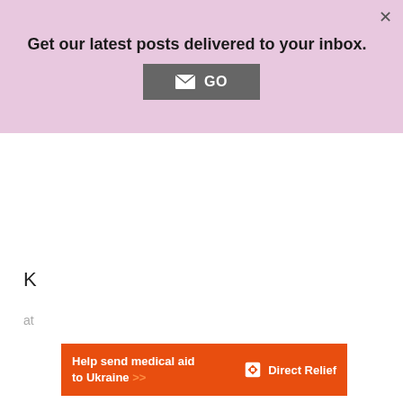Get our latest posts delivered to your inbox.
[Figure (other): GO button with envelope icon]
K
at
[Figure (other): Direct Relief advertisement banner: Help send medical aid to Ukraine >>]